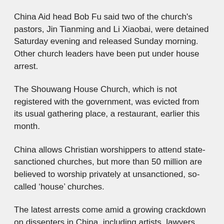China Aid head Bob Fu said two of the church's pastors, Jin Tianming and Li Xiaobai, were detained Saturday evening and released Sunday morning. Other church leaders have been put under house arrest.
The Shouwang House Church, which is not registered with the government, was evicted from its usual gathering place, a restaurant, earlier this month.
China allows Christian worshippers to attend state-sanctioned churches, but more than 50 million are believed to worship privately at unsanctioned, so-called ‘house’ churches.
The latest arrests come amid a growing crackdown on dissenters in China, including artists, lawyers, writers and intellectuals, for allegedly calling for street rallies similar to those in the Arab world…” (When Russia marches in the rapidly approaching global battle – Ezekiel 38 & 39 – China joins with her – Daniel 11:44; Revelation 16:12; Revelation 9:14 – 18. It will be a time of